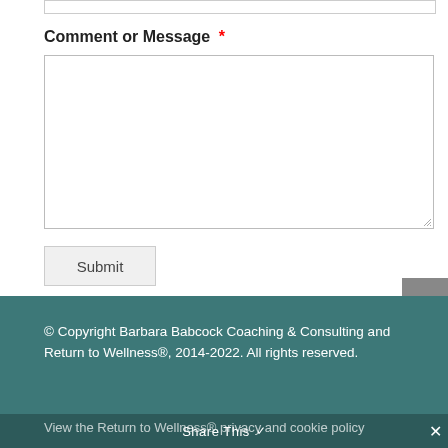Comment or Message *
© Copyright Barbara Babcock Coaching & Consulting and Return to Wellness®, 2014-2022. All rights reserved.
View the Return to Wellness® privacy and cookie policy
Share This